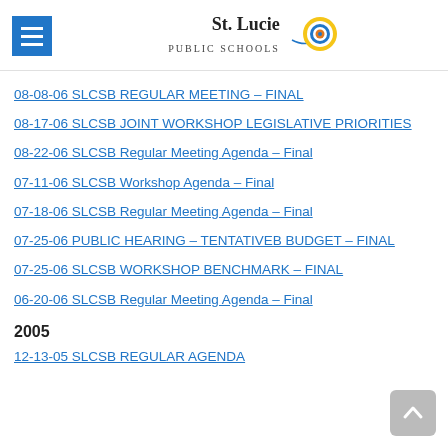[Figure (logo): St. Lucie Public Schools logo with circular icon]
08-08-06 SLCSB REGULAR MEETING – FINAL
08-17-06 SLCSB JOINT WORKSHOP LEGISLATIVE PRIORITIES
08-22-06 SLCSB Regular Meeting Agenda – Final
07-11-06 SLCSB Workshop Agenda – Final
07-18-06 SLCSB Regular Meeting Agenda – Final
07-25-06 PUBLIC HEARING – TENTATIVEB BUDGET – FINAL
07-25-06 SLCSB WORKSHOP BENCHMARK – FINAL
06-20-06 SLCSB Regular Meeting Agenda – Final
2005
12-13-05 SLCSB REGULAR AGENDA